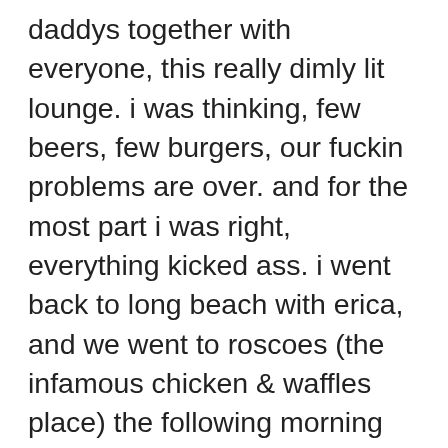daddys together with everyone, this really dimly lit lounge. i was thinking, few beers, few burgers, our fuckin problems are over. and for the most part i was right, everything kicked ass. i went back to long beach with erica, and we went to roscoes (the infamous chicken & waffles place) the following morning around noon. one thing about erica which kind of weirds me out, she smokes all the time. she's a huge head, not as much as candyce, but in the same vain. it's kind of disorienting for me, because i don't think i've ever dated anyone like that at all. i'm always the guy